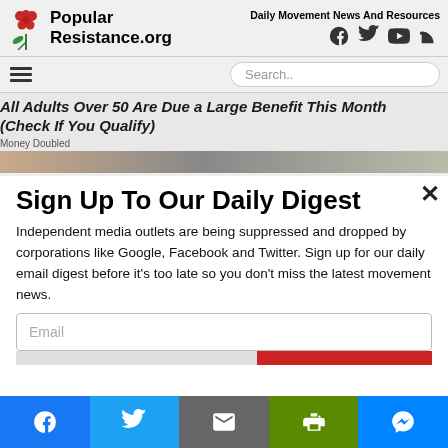Popular Resistance.org — Daily Movement News And Resources
All Adults Over 50 Are Due a Large Benefit This Month (Check If You Qualify)
Money Doubled
Sign Up To Our Daily Digest
Independent media outlets are being suppressed and dropped by corporations like Google, Facebook and Twitter. Sign up for our daily email digest before it's too late so you don't miss the latest movement news.